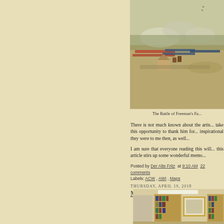[Figure (photo): Painting of the Battle of Freeman's Farm, showing military troops in a landscape scene]
The Battle of Freeman's Fa...
There is not much known about the artis... take this opportunity to thank him for... inspirational they were to me then, as well...
I am sure that everyone reading this will... this article stirs up some wonderful memo...
Posted by Der Alte Fritz at 9:10 AM 22 comments
Labels: ACW , AWI , Maps
THURSDAY, APRIL 19, 2018
My Renovated Game Room is...
[Figure (photo): Interior photo of a renovated game room showing bookshelves and a framed picture on the wall]